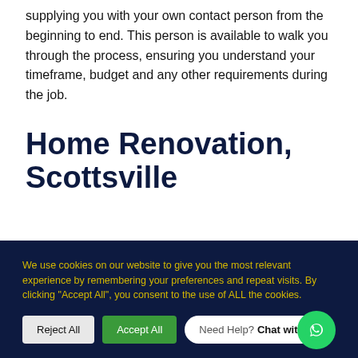supplying you with your own contact person from the beginning to end.  This person is available to walk you through the process, ensuring you understand your timeframe, budget and any other requirements during the job.
Home Renovation, Scottsville
We use cookies on our website to give you the most relevant experience by remembering your preferences and repeat visits. By clicking “Accept All”, you consent to the use of ALL the cookies.
Reject All | Accept All | Need Help? Chat with us